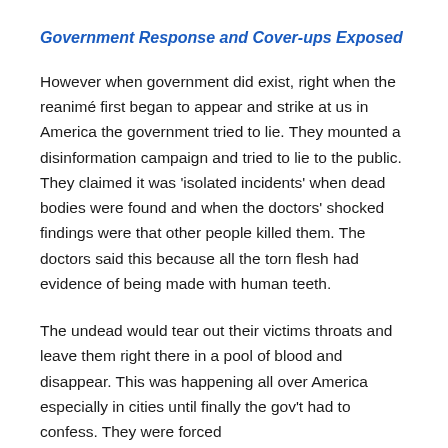Government Response and Cover-ups Exposed
However when government did exist, right when the reanimé first began to appear and strike at us in America the government tried to lie. They mounted a disinformation campaign and tried to lie to the public. They claimed it was 'isolated incidents' when dead bodies were found and when the doctors' shocked findings were that other people killed them. The doctors said this because all the torn flesh had evidence of being made with human teeth.
The undead would tear out their victims throats and leave them right there in a pool of blood and disappear. This was happening all over America especially in cities until finally the gov't had to confess. They were forced